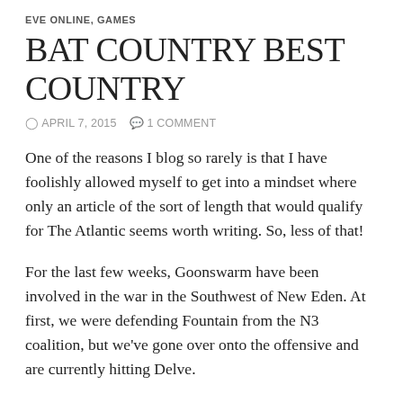EVE ONLINE, GAMES
BAT COUNTRY BEST COUNTRY
APRIL 7, 2015   1 COMMENT
One of the reasons I blog so rarely is that I have foolishly allowed myself to get into a mindset where only an article of the sort of length that would qualify for The Atlantic seems worth writing. So, less of that!
For the last few weeks, Goonswarm have been involved in the war in the Southwest of New Eden. At first, we were defending Fountain from the N3 coalition, but we've gone over onto the offensive and are currently hitting Delve.
Anyway, this post is not about that. The participation figures for the CFC just came out and my corp, Bat Country, yet again showed that they're the best of Goonswarm, and arguably...